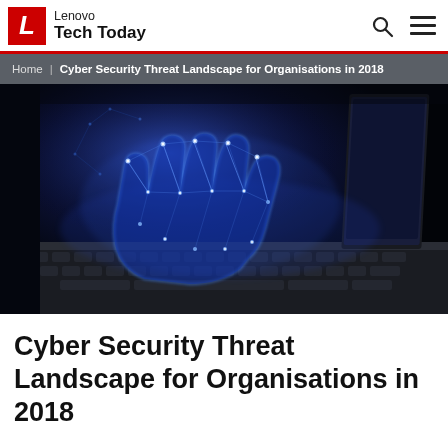Lenovo Tech Today
Home | Cyber Security Threat Landscape for Organisations in 2018
[Figure (photo): A glowing blue digital hand made of connected nodes and light particles reaching out over a laptop keyboard, symbolizing a cyber security threat.]
Cyber Security Threat Landscape for Organisations in 2018